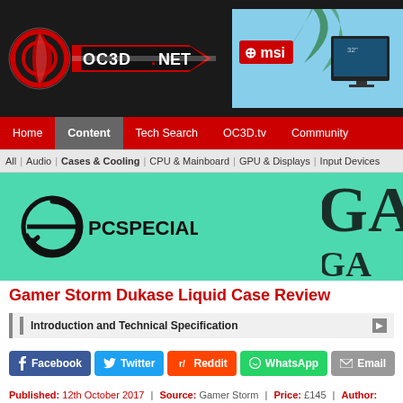[Figure (logo): OC3D.NET website header logo with red/white circular emblem and text OC3D.NET on dark background, with MSI advertisement banner on right]
Home | Content | Tech Search | OC3D.tv | Community
All | Audio | Cases & Cooling | CPU & Mainboard | GPU & Displays | Input Devices
[Figure (illustration): PCSpecialist and gaming advertisement banner on teal/green background]
Gamer Storm Dukase Liquid Case Review
Introduction and Technical Specification
[Figure (infographic): Social sharing buttons: Facebook, Twitter, Reddit, WhatsApp, Email]
Published: 12th October 2017 | Source: Gamer Storm | Price: £145 | Author: Gary Wain
[Figure (photo): Dark/black bottom strip of product image]